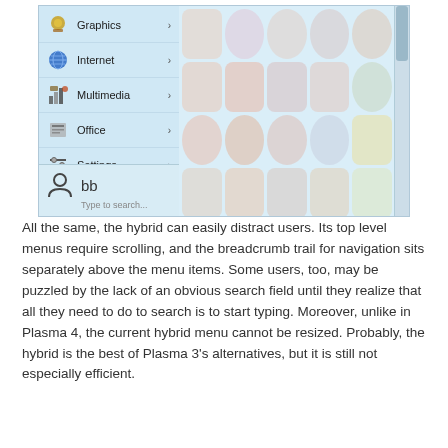[Figure (screenshot): A KDE Plasma application menu screenshot showing menu categories: Graphics, Internet, Multimedia, Office, Settings, with a user icon, 'bb' text, and 'Type to search...' placeholder. Icons are shown in the right panel area.]
All the same, the hybrid can easily distract users. Its top level menus require scrolling, and the breadcrumb trail for navigation sits separately above the menu items. Some users, too, may be puzzled by the lack of an obvious search field until they realize that all they need to do to search is to start typing. Moreover, unlike in Plasma 4, the current hybrid menu cannot be resized. Probably, the hybrid is the best of Plasma 3's alternatives, but it is still not especially efficient.